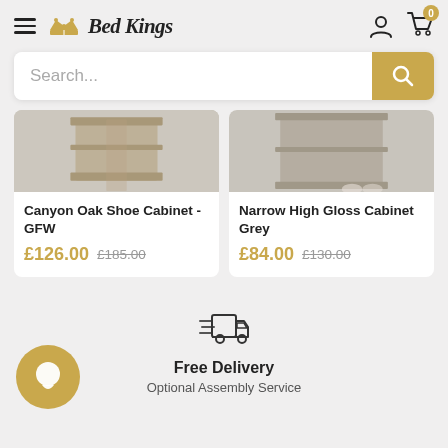Bed Kings
[Figure (screenshot): Search bar with text 'Search...' and a gold search button]
[Figure (photo): Product image for Canyon Oak Shoe Cabinet - GFW]
Canyon Oak Shoe Cabinet - GFW
£126.00  £185.00
[Figure (photo): Product image for Narrow High Gloss Cabinet Grey]
Narrow High Gloss Cabinet Grey
£84.00  £130.00
[Figure (illustration): Delivery truck icon]
Free Delivery
Optional Assembly Service
[Figure (illustration): Gold circular chat bubble icon]